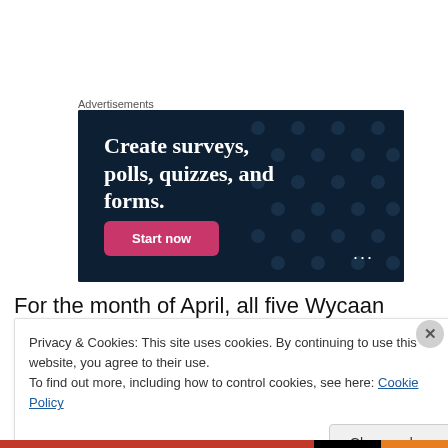Advertisements
[Figure (screenshot): Advertisement banner with dark navy background and dot pattern. Large white bold serif text reads 'Create surveys, polls, quizzes, and forms.' A pink/magenta button labeled 'Start now' appears at bottom left. Three dots icon at bottom right.]
For the month of April, all five Wycaan Master novels are
Privacy & Cookies: This site uses cookies. By continuing to use this website, you agree to their use.
To find out more, including how to control cookies, see here: Cookie Policy